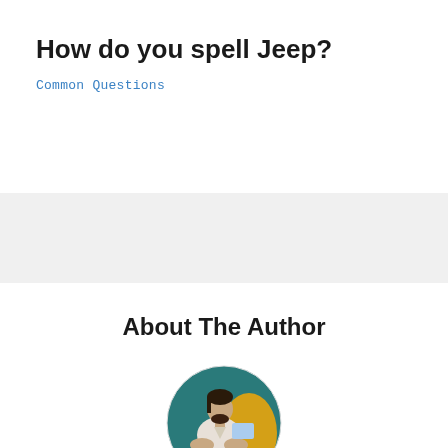How do you spell Jeep?
Common Questions
About The Author
[Figure (photo): Circular profile photo of author M Q Mohi, a person sitting cross-legged in front of a laptop with a teal and yellow background]
M Q Mohi